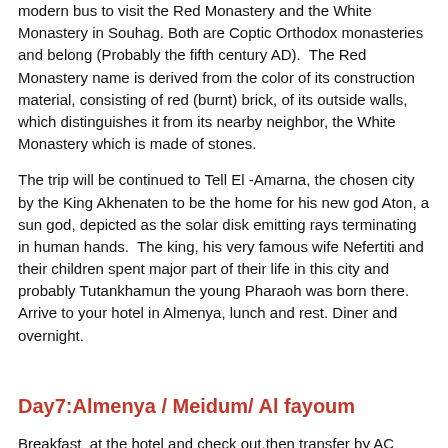modern bus to visit the Red Monastery and the White Monastery in Souhag. Both are Coptic Orthodox monasteries and belong (Probably the fifth century AD). The Red Monastery name is derived from the color of its construction material, consisting of red (burnt) brick, of its outside walls, which distinguishes it from its nearby neighbor, the White Monastery which is made of stones.
The trip will be continued to Tell El -Amarna, the chosen city by the King Akhenaten to be the home for his new god Aton, a sun god, depicted as the solar disk emitting rays terminating in human hands. The king, his very famous wife Nefertiti and their children spent major part of their life in this city and probably Tutankhamun the young Pharaoh was born there. Arrive to your hotel in Almenya, lunch and rest. Diner and overnight.
Day7:Almenya / Meidum/ Al fayoum
Breakfast at the hotel and check out,then transfer by AC modern bus to visit the painted tombs of Beni Hassan,there are 39 Nobles ancient tombs of Middle Kingdom (ca. 21st to 19th